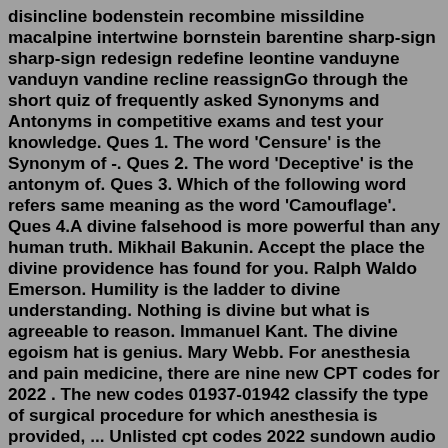disincline bodenstein recombine missildine macalpine intertwine bornstein barentine sharp-sign sharp-sign redesign redefine leontine vanduyne vanduyn vandine recline reassignGo through the short quiz of frequently asked Synonyms and Antonyms in competitive exams and test your knowledge. Ques 1. The word 'Censure' is the Synonym of -. Ques 2. The word 'Deceptive' is the antonym of. Ques 3. Which of the following word refers same meaning as the word 'Camouflage'. Ques 4.A divine falsehood is more powerful than any human truth. Mikhail Bakunin. Accept the place the divine providence has found for you. Ralph Waldo Emerson. Humility is the ladder to divine understanding. Nothing is divine but what is agreeable to reason. Immanuel Kant. The divine egoism hat is genius. Mary Webb. For anesthesia and pain medicine, there are nine new CPT codes for 2022 . The new codes 01937-01942 classify the type of surgical procedure for which anesthesia is provided, ... Unlisted cpt codes 2022 sundown audio 10 in box. manufactured homes with land for sale near me Ma...